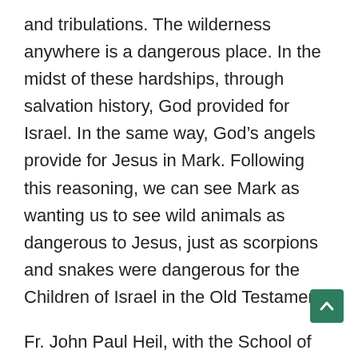and tribulations. The wilderness anywhere is a dangerous place. In the midst of these hardships, through salvation history, God provided for Israel. In the same way, God's angels provide for Jesus in Mark. Following this reasoning, we can see Mark as wanting us to see wild animals as dangerous to Jesus, just as scorpions and snakes were dangerous for the Children of Israel in the Old Testament.
Fr. John Paul Heil, with the School of Theology and Religious Studies at Catholic University of America, agrees with Mark presenting this parallel between Jesus and the Hebrews in the desert. He cites Deut 8:15: “God led Israel ‘though the great